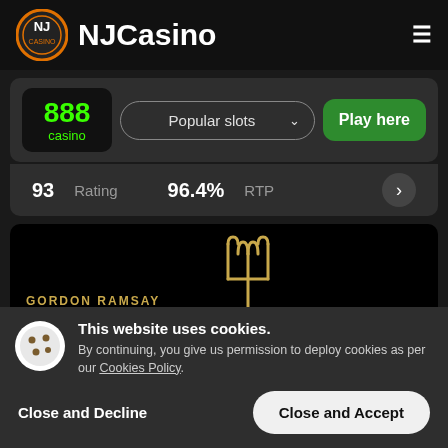NJCasino
[Figure (screenshot): 888 Casino logo with Popular slots dropdown and Play here button]
93 Rating    96.4% RTP
[Figure (screenshot): Gordon Ramsay Hell's Kitchen slot game promotional banner]
This website uses cookies. By continuing, you give us permission to deploy cookies as per our Cookies Policy.
Close and Decline    Close and Accept